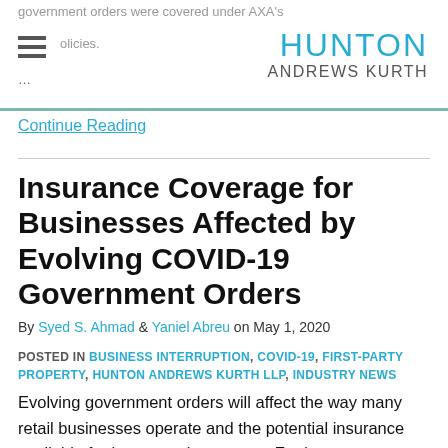government orders were covered under AXA's policies.
[Figure (logo): Hunton Andrews Kurth law firm logo, teal HUNTON text above grey ANDREWS KURTH text]
Continue Reading
Insurance Coverage for Businesses Affected by Evolving COVID-19 Government Orders
By Syed S. Ahmad & Yaniel Abreu on May 1, 2020
POSTED IN BUSINESS INTERRUPTION, COVID-19, FIRST-PARTY PROPERTY, HUNTON ANDREWS KURTH LLP, INDUSTRY NEWS
Evolving government orders will affect the way many retail businesses operate and the potential insurance available for losses and expenses. For instance, on